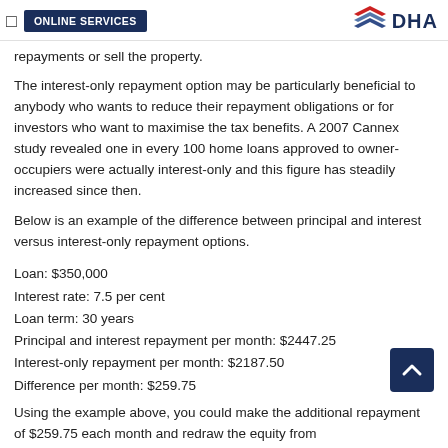ONLINE SERVICES | DHA
repayments or sell the property.
The interest-only repayment option may be particularly beneficial to anybody who wants to reduce their repayment obligations or for investors who want to maximise the tax benefits. A 2007 Cannex study revealed one in every 100 home loans approved to owner-occupiers were actually interest-only and this figure has steadily increased since then.
Below is an example of the difference between principal and interest versus interest-only repayment options.
Loan: $350,000
Interest rate: 7.5 per cent
Loan term: 30 years
Principal and interest repayment per month: $2447.25
Interest-only repayment per month: $2187.50
Difference per month: $259.75
Using the example above, you could make the additional repayment of $259.75 each month and redraw the equity from